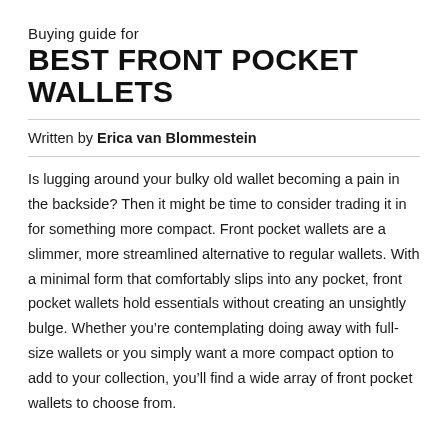Buying guide for
BEST FRONT POCKET WALLETS
Written by Erica van Blommestein
Is lugging around your bulky old wallet becoming a pain in the backside? Then it might be time to consider trading it in for something more compact. Front pocket wallets are a slimmer, more streamlined alternative to regular wallets. With a minimal form that comfortably slips into any pocket, front pocket wallets hold essentials without creating an unsightly bulge. Whether you’re contemplating doing away with full-size wallets or you simply want a more compact option to add to your collection, you’ll find a wide array of front pocket wallets to choose from.